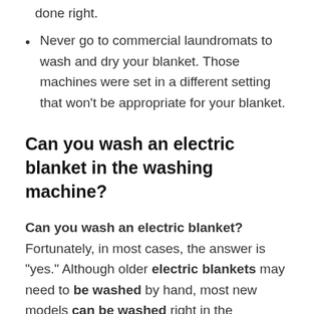done right.
Never go to commercial laundromats to wash and dry your blanket. Those machines were set in a different setting that won't be appropriate for your blanket.
Can you wash an electric blanket in the washing machine?
Can you wash an electric blanket? Fortunately, in most cases, the answer is “yes.” Although older electric blankets may need to be washed by hand, most new models can be washed right in the washing machine! To keep your electric blanket fresh and in working condition, it’s important to take extra care when washing.